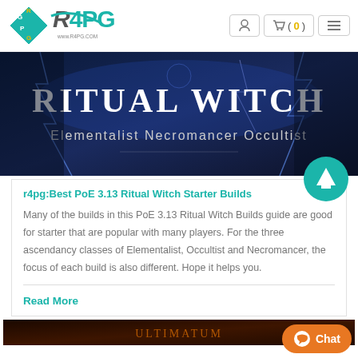[Figure (logo): R4PG logo with diamond shape and text www.r4pg.com]
[Figure (illustration): Ritual Witch banner image - Path of Exile game art showing Elementalist Necromancer Occultist with text 'RITUAL WITCH Elementalist Necromancer Occultist']
r4pg:Best PoE 3.13 Ritual Witch Starter Builds
Many of the builds in this PoE 3.13 Ritual Witch Builds guide are good for starter that are popular with many players. For the three ascendancy classes of Elementalist, Occultist and Necromancer, the focus of each build is also different. Hope it helps you.
Read More
[Figure (illustration): Partial bottom banner image - appears to be another game content banner]